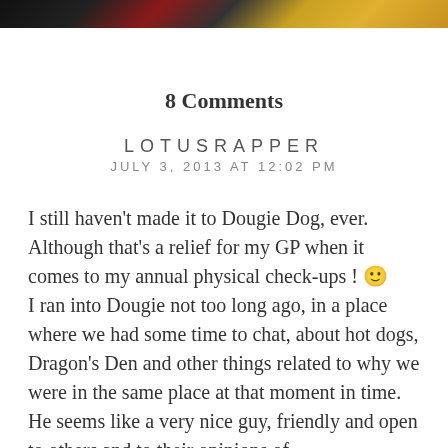[Figure (photo): Partial photo strip at top of page showing people, dark and yellow tones]
8 Comments
LOTUSRAPPER
JULY 3, 2013 AT 12:02 PM
I still haven't made it to Dougie Dog, ever. Although that's a relief for my GP when it comes to my annual physical check-ups ! 🙂
I ran into Dougie not too long ago, in a place where we had some time to chat, about hot dogs, Dragon's Den and other things related to why we were in the same place at that moment in time. He seems like a very nice guy, friendly and open to others and to their opinions of